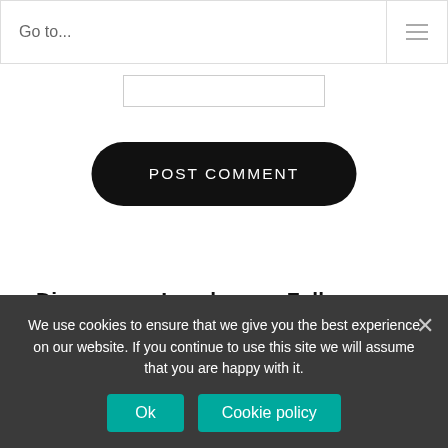Go to...
POST COMMENT
Discover
Legal
Follow
Biography
Get Growing
Terms and Conditions
[Figure (other): Pinterest and YouTube social media icon buttons (black rounded squares)]
[Figure (other): Two more social media icon buttons (black rounded squares, partially visible)]
We use cookies to ensure that we give you the best experience on our website. If you continue to use this site we will assume that you are happy with it.
Ok
Cookie policy